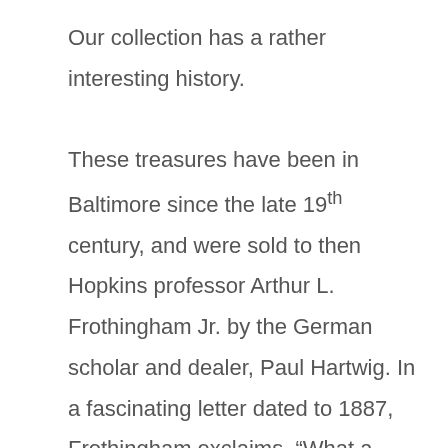Our collection has a rather interesting history. These treasures have been in Baltimore since the late 19th century, and were sold to then Hopkins professor Arthur L. Frothingham Jr. by the German scholar and dealer, Paul Hartwig. In a fascinating letter dated to 1887, Frothingham exclaims, “What a wonderful place Rome is for antiquities!” and encourages university president Daniel Coit Gilman to acquire funds for two excellent bronze statues available for sale. While the statues were not  secured for the Archaeological Museum, the vases that he